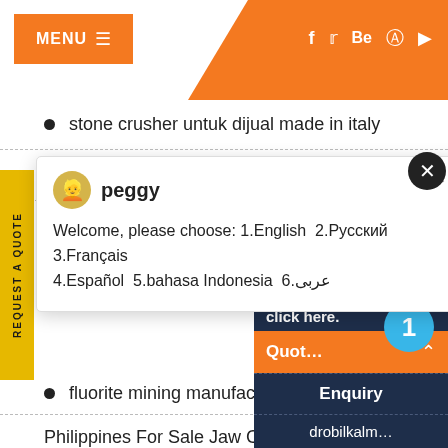MENU  [social icons: f, Twitter, Be, Pinterest, YouTube]
stone crusher untuk dijual made in italy
howtohandletheballmillballdisorderandthegra…
Chat popup — peggy: Welcome, please choose: 1.English 2.Русский 3.Français 4.Español 5.bahasa Indonesia 6.عربى
fluorite mining manufacturer
Philippines For Sale Jaw Crusher
Cost Of 4 Tph Raymond Calcite Gri…
mobile gold ore roll mining mill for…
REQUEST A QUOTE (side tab)
Have any q… click here.
Quot… (upward arrow)
Enquiry
drobilkalm…